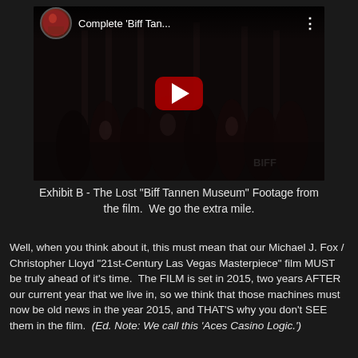[Figure (screenshot): YouTube video thumbnail showing a group of people in a dark setting, with a YouTube play button overlay. Video title reads 'Complete 'Biff Tan...' with a menu dots icon.]
Exhibit B - The Lost "Biff Tannen Museum" Footage from the film.  We go the extra mile.
Well, when you think about it, this must mean that our Michael J. Fox / Christopher Lloyd "21st-Century Las Vegas Masterpiece" film MUST be truly ahead of it's time.  The FILM is set in 2015, two years AFTER our current year that we live in, so we think that those machines must now be old news in the year 2015, and THAT'S why you don't SEE them in the film.  (Ed. Note: We call this 'Aces Casino Logic.'